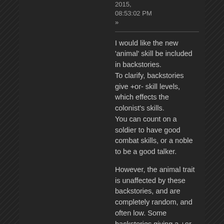2015, 08:53:02 PM »
I would like the new 'animal' skill be included in backstories. To clarify, backstories give +or- skill levels, which effects the colonist's skills. You can count on a soldier to have good combat skills, or a noble to be a good talker.
However, the animal trait is unaffected by these backstories, and are completely random, and often low. Some backstories giving a +or- to the animal handling skill